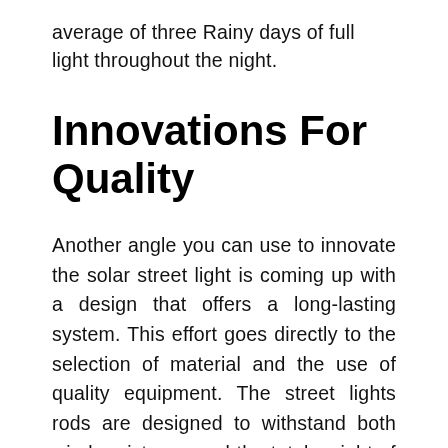average of three Rainy days of full light throughout the night.
Innovations For Quality
Another angle you can use to innovate the solar street light is coming up with a design that offers a long-lasting system. This effort goes directly to the selection of material and the use of quality equipment. The street lights rods are designed to withstand both wind resistance and the total weight of the equipment. Some innovations seem to produce musts that are anti-rust corrosion.